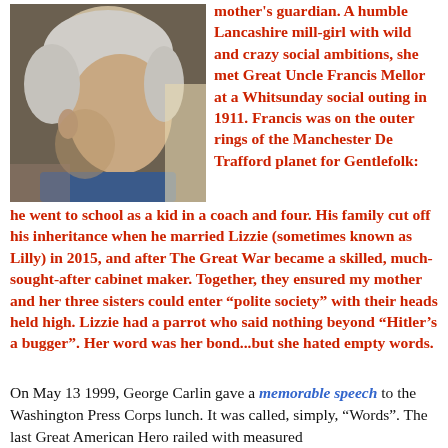[Figure (photo): Close-up photo of an elderly man with white/silver hair, viewed from the side/back, against a light background.]
mother's guardian. A humble Lancashire mill-girl with wild and crazy social ambitions, she met Great Uncle Francis Mellor at a Whitsunday social outing in 1911. Francis was on the outer rings of the Manchester De Trafford planet for Gentlefolk: he went to school as a kid in a coach and four. His family cut off his inheritance when he married Lizzie (sometimes known as Lilly) in 2015, and after The Great War became a skilled, much-sought-after cabinet maker. Together, they ensured my mother and her three sisters could enter “polite society” with their heads held high. Lizzie had a parrot who said nothing beyond “Hitler’s a bugger”. Her word was her bond...but she hated empty words.
On May 13 1999, George Carlin gave a memorable speech to the Washington Press Corps lunch. It was called, simply, “Words”. The last Great American Hero railed with measured